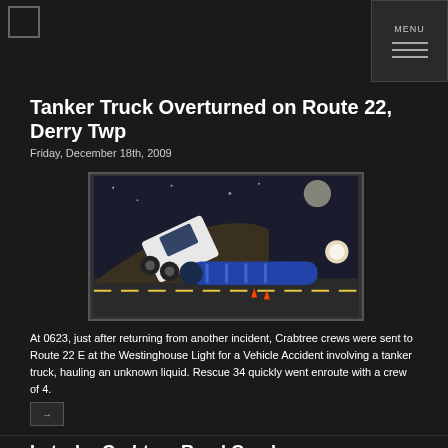MENU
Tanker Truck Overturned on Route 22, Derry Twp
Friday, December 18th, 2009
[Figure (photo): Night-time photo of an overturned tanker truck on the side of a road, with the cab tipped sideways up an embankment and the tanker lying across the road surface, emergency lights visible in the background.]
At 0623, just after returning from another incident, Crabtree crews were sent to Route 22 E at the Westinghouse Light for a Vehicle Accident involving a tanker truck, hauling an unknown liquid. Rescue 34 quickly went enroute with a crew of 4.
Latrobe-Crabtree Road Crash
Tuesday, December 15th, 2009